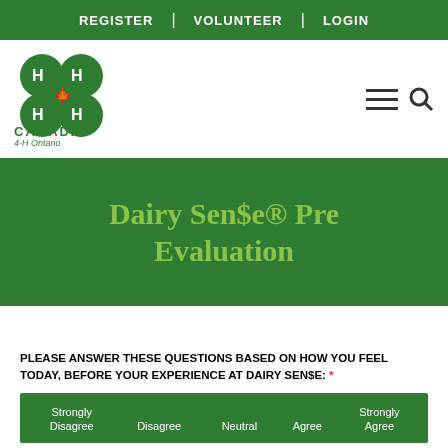REGISTER | VOLUNTEER | LOGIN
[Figure (logo): 4-H Canada / 4-H Ontario four-leaf clover logo with H letters and maple leaf, green on white]
Dairy Sen$e® Pre Evaluation
PLEASE ANSWER THESE QUESTIONS BASED ON HOW YOU FEEL TODAY, BEFORE YOUR EXPERIENCE AT DAIRY SEN$E: *
|  | Strongly Disagree | Disagree | Neutral | Agree | Strongly Agree |
| --- | --- | --- | --- | --- | --- |